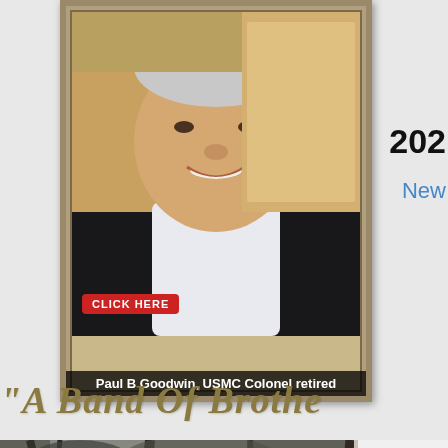[Figure (photo): Framed portrait photo of Paul B Goodwin, smiling older man in dark jacket and white shirt, with a red 'CLICK HERE' button overlay]
Paul B Goodwin, USMC Colonel retired
202
New
"A Band Of Brothe
[Figure (photo): Black and white photo of a young soldier in jungle/forest setting, wearing helmet and holding a rifle, sitting among trees and vegetation]
[Figure (photo): Partial right-side element with dark background showing letters 'sh' and 'y' in large white text, with a red dot decoration]